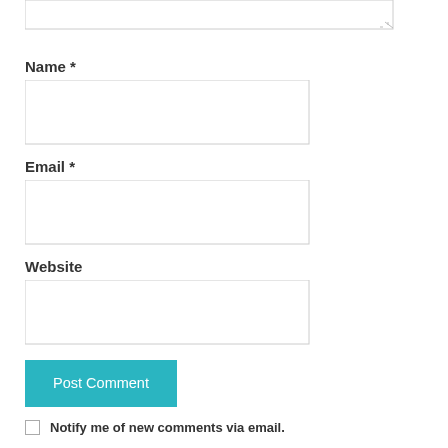[Figure (screenshot): Top portion of a textarea form field with resize handle visible at bottom right]
Name *
[Figure (screenshot): Empty text input field for Name]
Email *
[Figure (screenshot): Empty text input field for Email]
Website
[Figure (screenshot): Empty text input field for Website]
[Figure (screenshot): Teal/cyan Post Comment button]
Notify me of new comments via email.